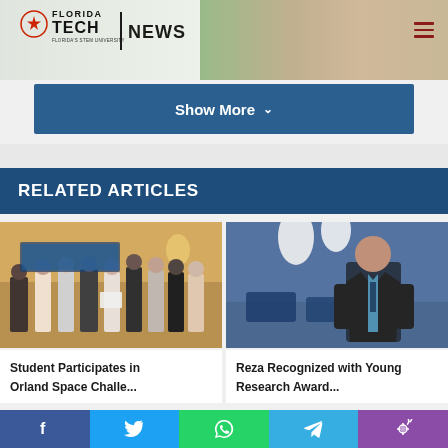Florida Tech News
Show More
RELATED ARTICLES
[Figure (photo): Group photo of students at an event, standing in front of a banner]
Student Participates in Orland Space Challe...
[Figure (photo): Man in suit standing in a modern room with blue lighting]
Reza Recognized with Young Research Award...
Social share bar: Facebook, Twitter, WhatsApp, Telegram, Phone